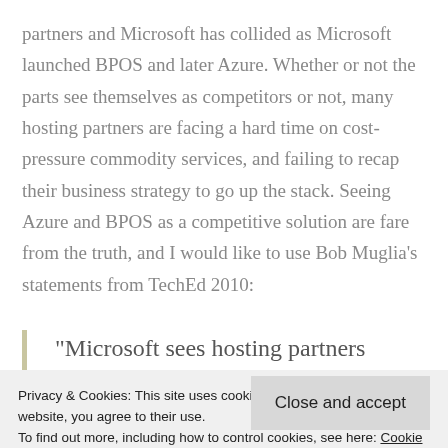partners and Microsoft has collided as Microsoft launched BPOS and later Azure. Whether or not the parts see themselves as competitors or not, many hosting partners are facing a hard time on cost-pressure commodity services, and failing to recap their business strategy to go up the stack. Seeing Azure and BPOS as a competitive solution are fare from the truth, and I would like to use Bob Muglia's statements from TechEd 2010:
"Microsoft sees hosting partners becoming
Privacy & Cookies: This site uses cookies. By continuing to use this website, you agree to their use. To find out more, including how to control cookies, see here: Cookie Policy
Close and accept